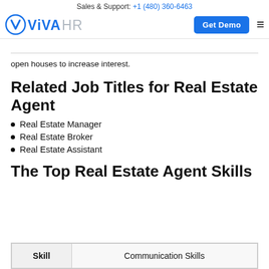Sales & Support: +1 (480) 360-6463 | ViVA HR | Get Demo
open houses to increase interest.
Related Job Titles for Real Estate Agent
Real Estate Manager
Real Estate Broker
Real Estate Assistant
The Top Real Estate Agent Skills
| Skill | Communication Skills |
| --- | --- |